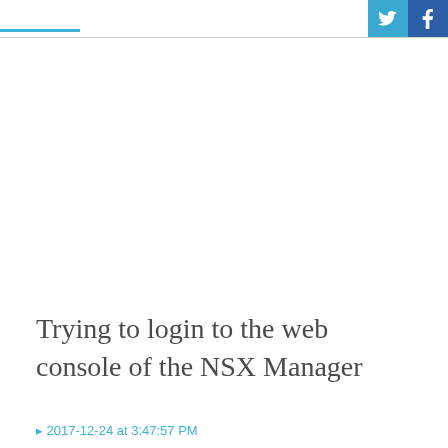Trying to login to the web console of the NSX Manager
2017-12-24 at 3:47:57 PM